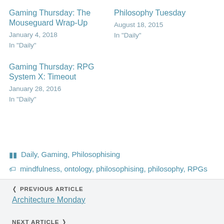Gaming Thursday: The Mouseguard Wrap-Up
January 4, 2018
In "Daily"
Philosophy Tuesday
August 18, 2015
In "Daily"
Gaming Thursday: RPG System X: Timeout
January 28, 2016
In "Daily"
Daily, Gaming, Philosophising
mindfulness, ontology, philosophising, philosophy, RPGs
< PREVIOUS ARTICLE
Architecture Monday
NEXT ARTICLE >